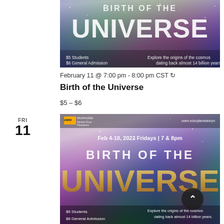[Figure (photo): Promotional poster for 'Birth of the Universe' planetarium show, showing cosmic nebula imagery with text: '$5 Students / $6 General Admission' and 'Explore the origins of the cosmos dating back almost 14 billion years.']
February 11 @ 7:00 pm - 8:00 pm CST ↻
Birth of the Universe
$5 – $6
FRI
11
[Figure (photo): Promotional poster for 'Birth of the Universe' planetarium show at UWM Milwaukee / Manfred Olson Planetarium. Shows cosmic nebula imagery with text: 'Feb 4-18, 2022 Fridays | 7 & 8pm', 'BIRTH OF THE UNIVERSE', uwm.edu/planetarium, '$5 Students / $6 General Admission', 'Explore the origins of the cosmos dating back almost 14 billion years.' A scroll-up button is visible in the bottom right.]